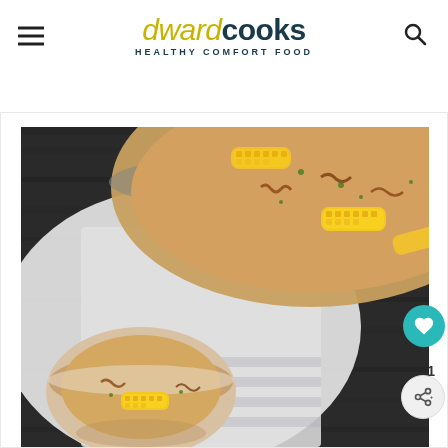dwardcooks HEALTHY COMFORT FOOD
[Figure (photo): Overhead view of a large pot and small bowl of creamy corn chowder soup topped with corn cobs, crispy bacon, and fresh herbs on a white cloth napkin against dark wood background]